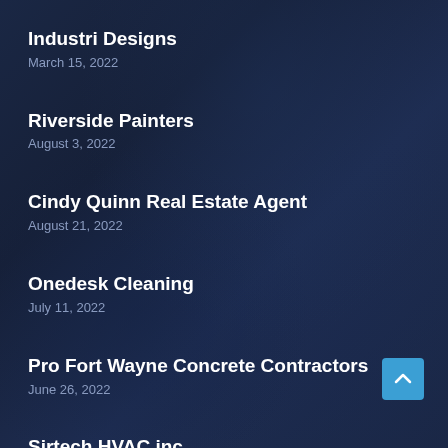Industri Designs
March 15, 2022
Riverside Painters
August 3, 2022
Cindy Quinn Real Estate Agent
August 21, 2022
Onedesk Cleaning
July 11, 2022
Pro Fort Wayne Concrete Contractors
June 26, 2022
Sirtech HVAC inc